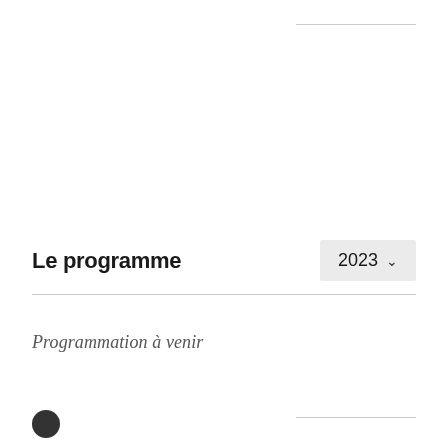Le programme
2023 ∨
Programmation à venir